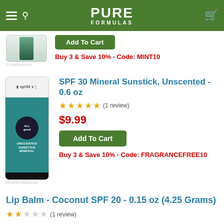PURE FORMULAS
[Figure (photo): Partially visible product bottle image with © PUREFORMULAS watermark]
Add To Cart
Buy 3 & Save 10% - Code: MINT10
[Figure (photo): SPF 30 Mineral Sunstick product in teal/dark packaging, 0.6 oz, with © PUREFORMULAS watermark]
SPF 30 Mineral Sunstick, Unscented - 0.6 oz
★★★★★ (1 review)
$9.99
Add To Cart
Buy 3 & Save 10% - Code: FRAGRANCEFREE10
Lip Balm - Coconut SPF 20 - 0.15 oz (4.25 Grams)
★★☆☆☆ (1 review)